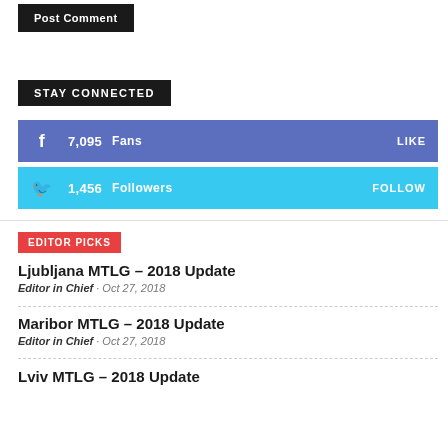Post Comment (button)
STAY CONNECTED
7,095  Fans  LIKE
1,456  Followers  FOLLOW
EDITOR PICKS
Ljubljana MTLG – 2018 Update
Editor in Chief  ·  Oct 27, 2018
Maribor MTLG – 2018 Update
Editor in Chief  ·  Oct 27, 2018
Lviv MTLG – 2018 Update